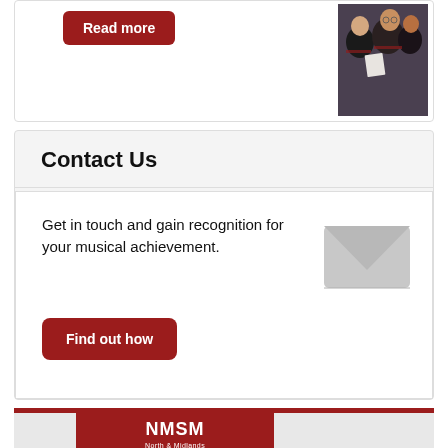Read more
[Figure (photo): Graduation ceremony photo showing people in academic gowns]
Contact Us
Get in touch and gain recognition for your musical achievement.
Find out how
[Figure (logo): NMSM North & Midlands School of Music logo on red background]